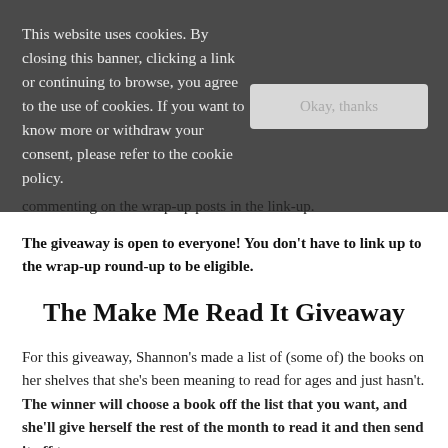This website uses cookies. By closing this banner, clicking a link or continuing to browse, you agree to the use of cookies. If you want to know more or withdraw your consent, please refer to the cookie policy.
commenting on the wrap-up posts in the link-up.
The giveaway is open to everyone! You don't have to link up to the wrap-up round-up to be eligible.
The Make Me Read It Giveaway
For this giveaway, Shannon's made a list of (some of) the books on her shelves that she's been meaning to read for ages and just hasn't. The winner will choose a book off the list that you want, and she'll give herself the rest of the month to read it and then send it off to you.